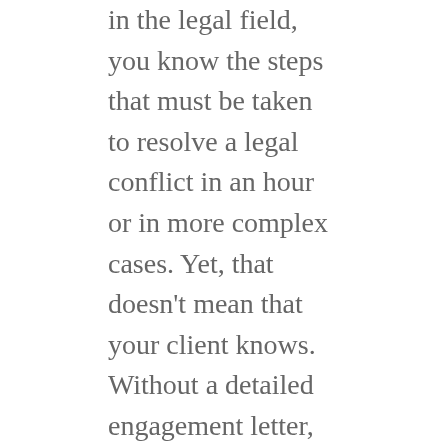in the legal field, you know the steps that must be taken to resolve a legal conflict in an hour or in more complex cases. Yet, that doesn't mean that your client knows. Without a detailed engagement letter, your client may expect different services than what are actually required. Sending out a detailed engagement letter can protect you from spending more time and money defending yourself from an ethics complaint filed by a client who expected something totally different.

The purpose of this letter is to protect yourself and your law firm.